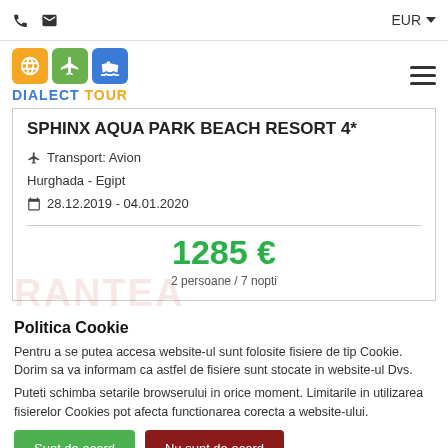EUR
[Figure (logo): Dialect Tour logo with globe, plane, and ship icons in orange, green, and blue squares]
SPHINX AQUA PARK BEACH RESORT 4*
✈ Transport: Avion
Hurghada - Egipt
📅 28.12.2019 - 04.01.2020
1285 €
2 persoane / 7 nopti
Politica Cookie
Pentru a se putea accesa website-ul sunt folosite fisiere de tip Cookie. Dorim sa va informam ca astfel de fisiere sunt stocate in website-ul Dvs.
Puteti schimba setarile browserului in orice moment. Limitarile in utilizarea fisierelor Cookies pot afecta functionarea corecta a website-ului.
Sunt de acord
Nu sunt de acord